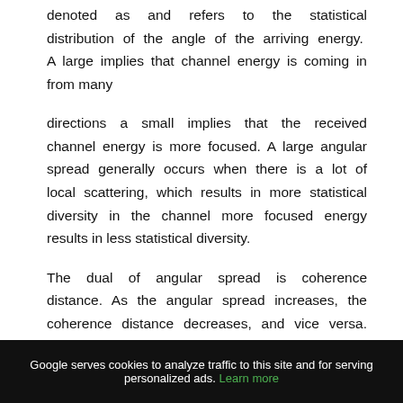denoted as and refers to the statistical distribution of the angle of the arriving energy. A large implies that channel energy is coming in from many
directions a small implies that the received channel energy is more focused. A large angular spread generally occurs when there is a lot of local scattering, which results in more statistical diversity in the channel more focused energy results in less statistical diversity.
The dual of angular spread is coherence distance. As the angular spread increases, the coherence distance decreases, and vice versa. A coherence distance means that any physical
Google serves cookies to analyze traffic to this site and for serving personalized ads. Learn more